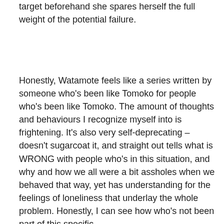target beforehand she spares herself the full weight of the potential failure.
Honestly, Watamote feels like a series written by someone who's been like Tomoko for people who's been like Tomoko. The amount of thoughts and behaviours I recognize myself into is frightening. It's also very self-deprecating – doesn't sugarcoat it, and straight out tells what is WRONG with people who's in this situation, and why and how we all were a bit assholes when we behaved that way, yet has understanding for the feelings of loneliness that underlay the whole problem. Honestly, I can see how who's not been part of this specific